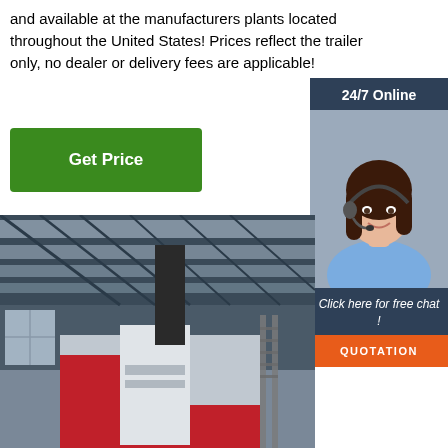and available at the manufacturers plants located throughout the United States! Prices reflect the trailer only, no dealer or delivery fees are applicable!
[Figure (other): Green 'Get Price' button]
[Figure (other): Sidebar with '24/7 Online' label, agent photo with headset, 'Click here for free chat!' and orange 'QUOTATION' button]
[Figure (photo): Factory/warehouse interior showing industrial machinery (red and white machine, likely a press or industrial equipment) on a concrete floor under a steel-framed roof with skylights]